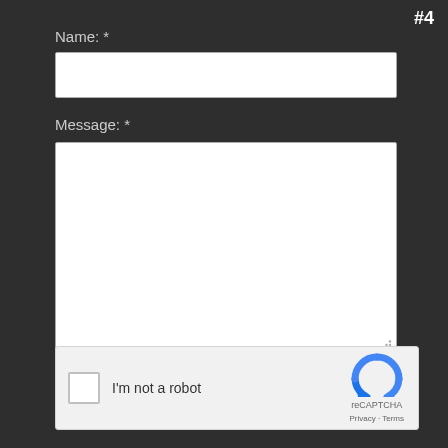#4
Name: *
[Figure (other): Empty text input field for Name]
Message: *
[Figure (other): Empty textarea input field for Message]
Our Privacy Policy applies.
[Figure (other): reCAPTCHA widget with checkbox labeled I'm not a robot and reCAPTCHA logo with Privacy and Terms links]